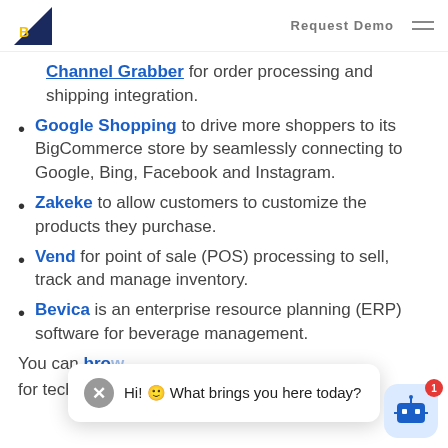Request Demo
Channel Grabber for order processing and shipping integration.
Google Shopping to drive more shoppers to its BigCommerce store by seamlessly connecting to Google, Bing, Facebook and Instagram.
Zakeke to allow customers to customize the products they purchase.
Vend for point of sale (POS) processing to sell, track and manage inventory.
Bevica is an enterprise resource planning (ERP) software for beverage management.
You can browse for technology integration ideas and examples
[Figure (screenshot): Chat bot overlay with close button and message: Hi! What brings you here today?]